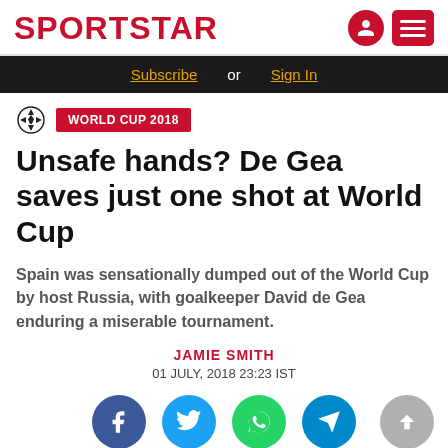SPORTSTAR
Subscribe or Sign In
WORLD CUP 2018
Unsafe hands? De Gea saves just one shot at World Cup
Spain was sensationally dumped out of the World Cup by host Russia, with goalkeeper David de Gea enduring a miserable tournament.
JAMIE SMITH
01 JULY, 2018 23:23 IST
[Figure (infographic): Social media share buttons: Facebook, Twitter, WhatsApp, Telegram, and scroll-to-top button]
[Figure (photo): Bottom image strip showing a football goalnet and grass field]